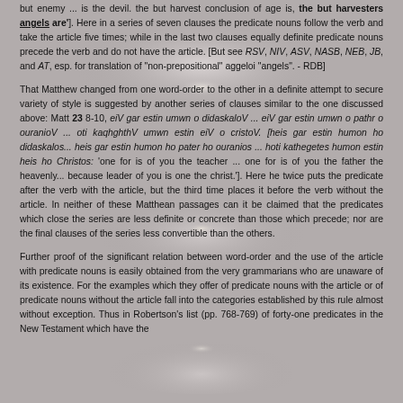but enemy ... is the devil. the but harvest conclusion of age is, the but harvesters angels are']. Here in a series of seven clauses the predicate nouns follow the verb and take the article five times; while in the last two clauses equally definite predicate nouns precede the verb and do not have the article. [But see RSV, NIV, ASV, NASB, NEB, JB, and AT, esp. for translation of "non-prepositional" aggeloi "angels". - RDB]
That Matthew changed from one word-order to the other in a definite attempt to secure variety of style is suggested by another series of clauses similar to the one discussed above: Matt 23 8-10, eiV gar estin umwn o didaskaloV ... eiV gar estin umwn o pathr o ouranioV ... oti kaqhghthV umwn estin eiV o cristoV. [heis gar estin humon ho didaskalos... heis gar estin humon ho pater ho ouranios ... hoti kathegetes humon estin heis ho Christos: 'one for is of you the teacher ... one for is of you the father the heavenly... because leader of you is one the christ.']. Here he twice puts the predicate after the verb with the article, but the third time places it before the verb without the article. In neither of these Matthean passages can it be claimed that the predicates which close the series are less definite or concrete than those which precede; nor are the final clauses of the series less convertible than the others.
Further proof of the significant relation between word-order and the use of the article with predicate nouns is easily obtained from the very grammarians who are unaware of its existence. For the examples which they offer of predicate nouns with the article or of predicate nouns without the article fall into the categories established by this rule almost without exception. Thus in Robertson's list (pp. 768-769) of forty-one predicates in the New Testament which have the